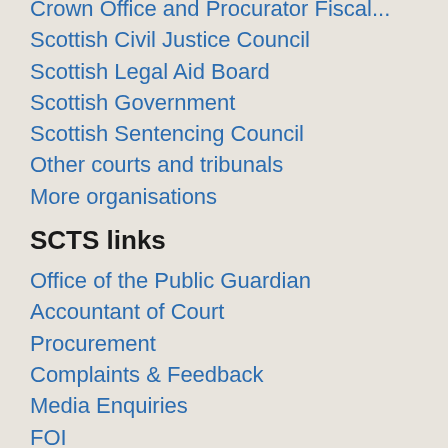Crown Office and Procurator Fiscal...
Scottish Civil Justice Council
Scottish Legal Aid Board
Scottish Government
Scottish Sentencing Council
Other courts and tribunals
More organisations
SCTS links
Office of the Public Guardian
Accountant of Court
Procurement
Complaints & Feedback
Media Enquiries
FOI
Data Protection
Judicial Office